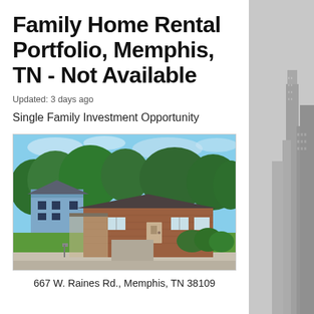Family Home Rental Portfolio, Memphis, TN - Not Available
Updated: 3 days ago
Single Family Investment Opportunity
[Figure (photo): Street view photo of a single-family home at 667 W. Raines Rd., Memphis, TN 38109. A ranch-style brick house with green lawn, hedges, and a blue two-story house visible behind it. Power lines overhead, sidewalk and mailbox in foreground.]
667 W. Raines Rd., Memphis, TN 38109